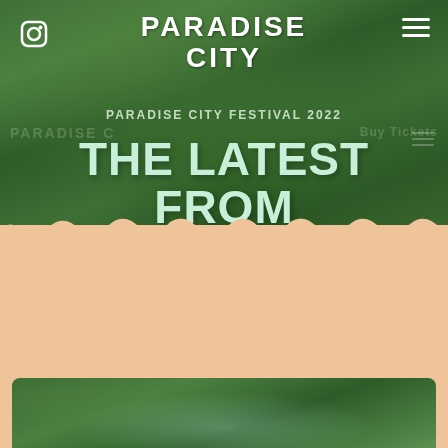[Figure (photo): Lush green grass/seaweed background image for the Paradise City Festival 2022 hero banner]
PARADISE CITY
PARADISE CITY FESTIVAL 2022
THE LATEST FROM PARADISE
POSTED JANUARY 10, 2022 IN ALL, GREEN
IN DETAIL: OUR GREEN COMMITMENTS
[Figure (photo): Green grass/nature photo at the bottom of the page]